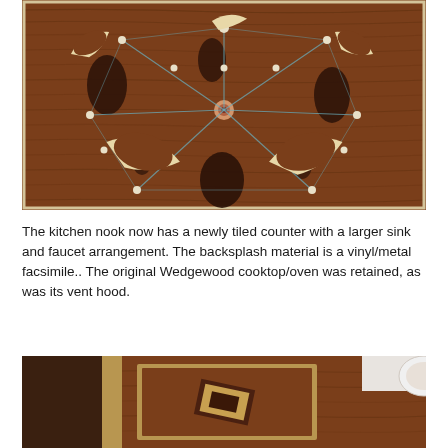[Figure (photo): Decorative wood inlay panel showing a geometric/celestial design with crescent moon shapes and circular medallions connected by spider-web-like lines on a dark rosewood background.]
The kitchen nook now has a newly tiled counter with a larger sink and faucet arrangement. The backsplash material is a vinyl/metal facsimile.. The original Wedgewood cooktop/oven was retained, as was its vent hood.
[Figure (photo): Partial photo showing a wooden framed decorative panel with geometric wood inlay design, mounted on a wall, with a white ceiling visible at upper right.]